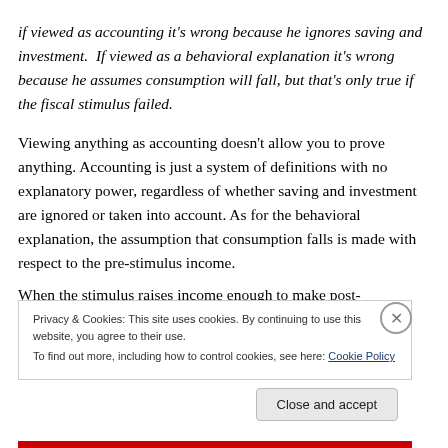if viewed as accounting it's wrong because he ignores saving and investment.  If viewed as a behavioral explanation it's wrong because he assumes consumption will fall, but that's only true if the fiscal stimulus failed.
Viewing anything as accounting doesn't allow you to prove anything. Accounting is just a system of definitions with no explanatory power, regardless of whether saving and investment are ignored or taken into account. As for the behavioral explanation, the assumption that consumption falls is made with respect to the pre-stimulus income.
When the stimulus raises income enough to make post-
Privacy & Cookies: This site uses cookies. By continuing to use this website, you agree to their use.
To find out more, including how to control cookies, see here: Cookie Policy
Close and accept